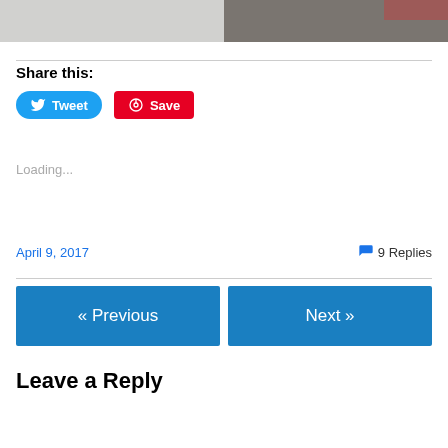[Figure (photo): Two side-by-side photos at top of page, both appear to show a light gray/white surface]
Share this:
[Figure (screenshot): Tweet button (blue rounded) and Save button (red rounded rectangle) for social sharing]
Loading...
April 9, 2017
9 Replies
« Previous
Next »
Leave a Reply